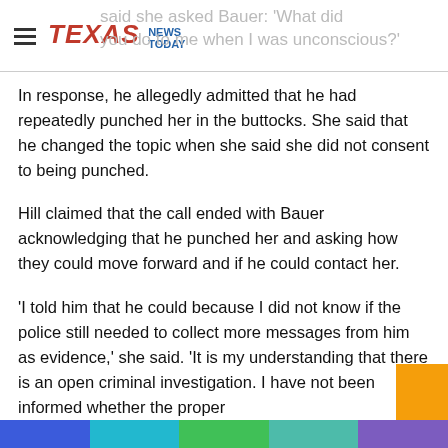TEXAS NEWS TODAY
said she asked Bauer: 'What did you do to me when I was unconscious?'
In response, he allegedly admitted that he had repeatedly punched her in the buttocks. She said that he changed the topic when she said she did not consent to being punched.
Hill claimed that the call ended with Bauer acknowledging that he punched her and asking how they could move forward and if he could contact her.
'I told him that he could because I did not know if the police still needed to collect more messages from him as evidence,' she said. 'It is my understanding that there is an open criminal investigation. I have not been informed whether the proper